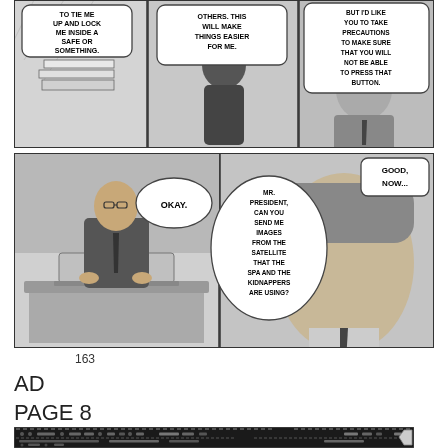[Figure (illustration): Manga page top strip with three panels. Panel 1: speech bubble text 'TO TIE ME UP AND LOCK ME INSIDE A SAFE OR SOMETHING.' Panel 2: speech bubble text 'OTHERS. THIS WILL MAKE THINGS EASIER FOR ME.' Panel 3: speech bubble text 'BUT I'D LIKE YOU TO TAKE PRECAUTIONS TO MAKE SURE THAT YOU WILL NOT BE ABLE TO PRESS THAT BUTTON.']
[Figure (illustration): Manga page bottom row with two panels. Left panel: man in suit at desk with laptop, speech bubble 'OKAY.' Right panel center speech bubble 'MR. PRESIDENT, CAN YOU SEND ME IMAGES FROM THE SATELLITE THAT THE SPA AND THE KIDNAPPERS ARE USING?' Right panel character with speech bubble 'GOOD, NOW...']
163
AD
PAGE 8
[Figure (screenshot): Small thumbnail strip showing a manga page 8 thumbnail with dark background and small text/dots indicating a page layout overview.]